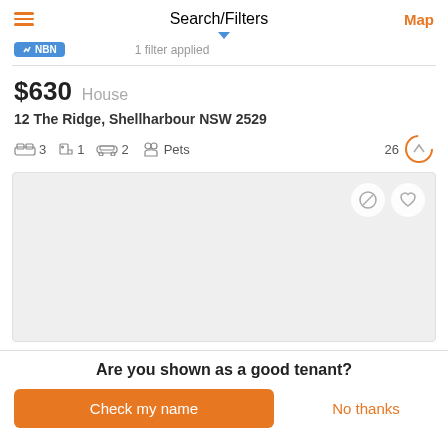Search/Filters
Map
NBN | 1 filter applied
$630   House
12 The Ridge, Shellharbour NSW 2529
3   1   2   Pets   26
[Figure (screenshot): Grey placeholder image area with apply/shortlist icons (no-entry and heart icons)]
Are you shown as a good tenant?
Check my name
No thanks